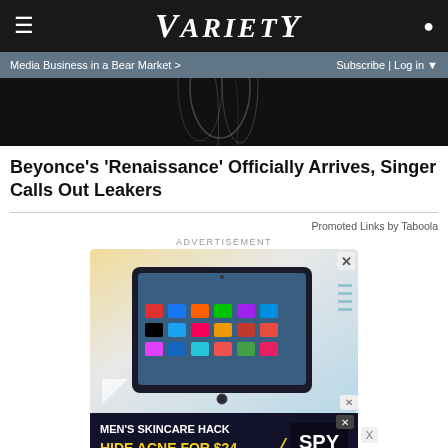VARIETY
Media Business in a Bear Market >
Subscribe | Log in
[Figure (photo): Dark hero image with water/liquid visual effects, partial view at top of article]
Beyonce's 'Renaissance' Officially Arrives, Singer Calls Out Leakers
Promoted Links by Taboola
ADVERTISEMENT
[Figure (photo): Amazon Fire tablet advertisement showing tablet device with colorful app icons on screen, decorative geometric background in yellow, white, and teal]
[Figure (advertisement): Men's Skincare Hack - Hide Acne For $24 - SPY brand advertisement with dark background and yellow text]